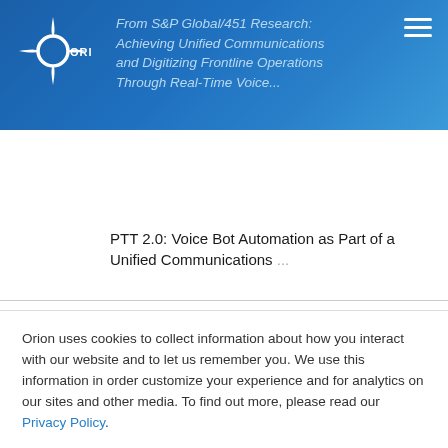[Figure (screenshot): Orion website navigation bar with logo, article title text, and hamburger menu icon on blue gradient background]
From S&P Global/451 Research: Achieving Unified Communications and Digitizing Frontline Operations Through Real-Time Voice...
PTT 2.0: Voice Bot Automation as Part of a Unified Communications...
Orion uses cookies to collect information about how you interact with our website and to let us remember you. We use this information in order customize your experience and for analytics on our sites and other media. To find out more, please read our Privacy Policy.
If you decline, your information won't be tracked when you visit this website. A single cookie will be used in your browser to remember your preference not to be tracked.